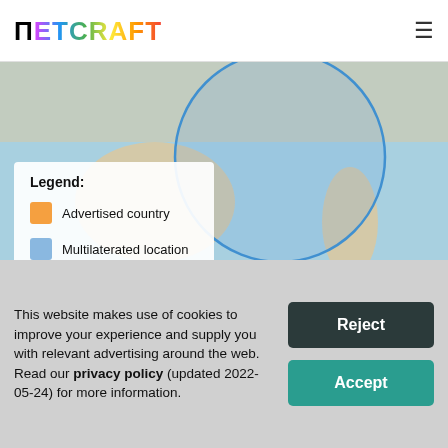Netcraft
[Figure (map): Map of North Africa and Southern Europe showing a blue circle overlay (multilaterated location) over the Mediterranean Sea and North Africa region. Includes a legend box with: Advertised country (orange) and Multilaterated location (blue). Attribution: Leaflet | © OpenStreetMap contributors]
This website makes use of cookies to improve your experience and supply you with relevant advertising around the web. Read our privacy policy (updated 2022-05-24) for more information.